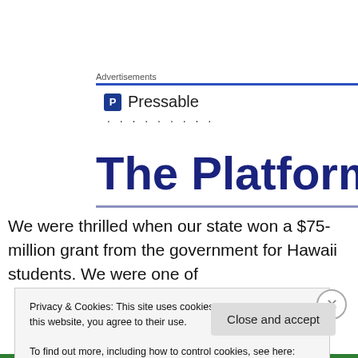Advertisements
[Figure (logo): Pressable logo with blue P icon and dots below]
The Platform
We were thrilled when our state won a $75-million grant from the government for Hawaii students. We were one of
Privacy & Cookies: This site uses cookies. By continuing to use this website, you agree to their use.
To find out more, including how to control cookies, see here: Cookie Policy
Close and accept